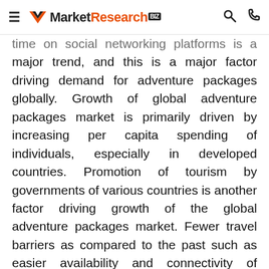MarketResearch.biz
time on social networking platforms is a major trend, and this is a major factor driving demand for adventure packages globally. Growth of global adventure packages market is primarily driven by increasing per capita spending of individuals, especially in developed countries. Promotion of tourism by governments of various countries is another factor driving growth of the global adventure packages market. Fewer travel barriers as compared to the past such as easier availability and connectivity of transportation, low air fares, and improved Internet and mobile